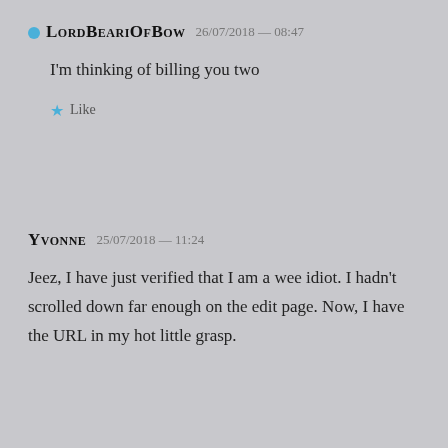LordBeariOfBow  26/07/2018 — 08:47
I'm thinking of billing you two
★ Like
Yvonne  25/07/2018 — 11:24
Jeez, I have just verified that I am a wee idiot. I hadn't scrolled down far enough on the edit page. Now, I have the URL in my hot little grasp.